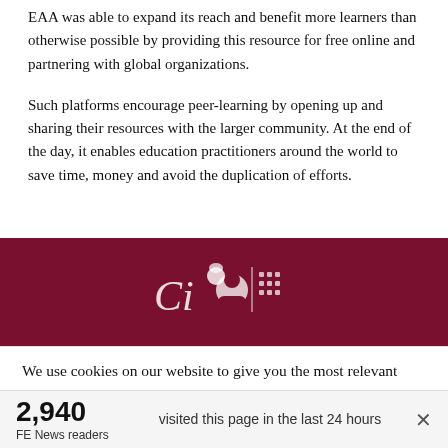EAA was able to expand its reach and benefit more learners than otherwise possible by providing this resource for free online and partnering with global organizations.
Such platforms encourage peer-learning by opening up and sharing their resources with the larger community. At the end of the day, it enables education practitioners around the world to save time, money and avoid the duplication of efforts.
[Figure (screenshot): Dark red/maroon banner with white logos and icons, partially visible website header]
We use cookies on our website to give you the most relevant experience by remembering your preferences and repeat visits. By clicking “Accept”, you consent to the use of ALL the cookies. However you may visit Cookie
2,940
FE News readers
visited this page in the last 24 hours